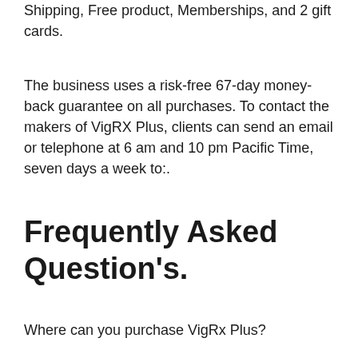Shipping, Free product, Memberships, and 2 gift cards.
The business uses a risk-free 67-day money-back guarantee on all purchases. To contact the makers of VigRX Plus, clients can send an email or telephone at 6 am and 10 pm Pacific Time, seven days a week to:.
Frequently Asked Question's.
Where can you purchase VigRx Plus?